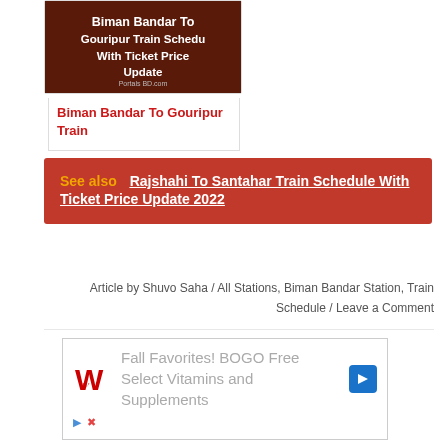[Figure (illustration): Thumbnail image with dark brown/maroon background and white bold text reading 'Biman Bandar To Gouripur Train Schedule With Ticket Price Update' with watermark 'Portals BD.com']
Biman Bandar To Gouripur Train
See also  Rajshahi To Santahar Train Schedule With Ticket Price Update 2022
Article by Shuvo Saha / All Stations, Biman Bandar Station, Train Schedule / Leave a Comment
[Figure (screenshot): Advertisement: Fall Favorites! BOGO Free Select Vitamins and Supplements with Walgreens logo]